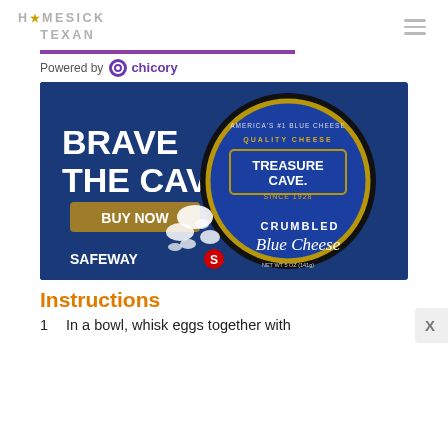HOMESICK TEXAN
[Figure (logo): Homesick Texan logo with star icon and hamburger menu]
Powered by chicory
[Figure (photo): Treasure Cave Crumbled Blue Cheese advertisement with text 'BRAVE THE CAVE', 'BUY NOW', 'SAFEWAY', 'AMERICA'S #1 BLUE CHEESE', 'QUALITY CHEESE', 'TREASURE CAVE.', 'SINCE 1928', 'CRUMBLED Blue Cheese', 'NET WT 5 OZ (141g)']
Instructions
In a bowl, whisk eggs together with